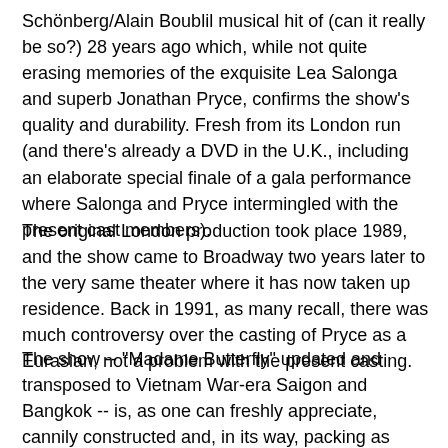Schönberg/Alain Boublil musical hit of (can it really be so?) 28 years ago which, while not quite erasing memories of the exquisite Lea Salonga and superb Jonathan Pryce, confirms the show's quality and durability. Fresh from its London run (and there's already a DVD in the U.K., including an elaborate special finale of a gala performance where Salonga and Pryce intermingled with the present cast members).
The original London production took place 1989, and the show came to Broadway two years later to the very same theater where it has now taken up residence. Back in 1991, as many recall, there was much controversy over the casting of Pryce as a Eurasian, not a problem with the present casting.
The show -- "Madame Butterfly" updated and transposed to Vietnam War-era Saigon and Bangkok -- is, as one can freshly appreciate, cannily constructed and, in its way, packing as much of an emotional wallop as Puccini's opera. There are many superb theatrical moments such as "The Morning of the Dragon" sequence dramatizing the third anniversary of reunification in Saigon (renamed Ho Chi Minh City) and the heart-stopping first